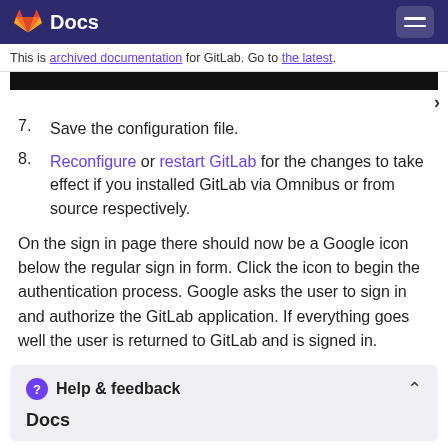Docs
This is archived documentation for GitLab. Go to the latest.
7. Save the configuration file.
8. Reconfigure or restart GitLab for the changes to take effect if you installed GitLab via Omnibus or from source respectively.
On the sign in page there should now be a Google icon below the regular sign in form. Click the icon to begin the authentication process. Google asks the user to sign in and authorize the GitLab application. If everything goes well the user is returned to GitLab and is signed in.
Help & feedback
Docs